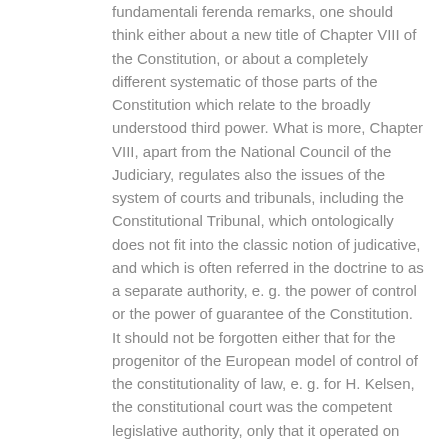fundamentali ferenda remarks, one should think either about a new title of Chapter VIII of the Constitution, or about a completely different systematic of those parts of the Constitution which relate to the broadly understood third power. What is more, Chapter VIII, apart from the National Council of the Judiciary, regulates also the issues of the system of courts and tribunals, including the Constitutional Tribunal, which ontologically does not fit into the classic notion of judicative, and which is often referred in the doctrine to as a separate authority, e. g. the power of control or the power of guarantee of the Constitution. It should not be forgotten either that for the progenitor of the European model of control of the constitutionality of law, e. g. for H. Kelsen, the constitutional court was the competent legislative authority, only that it operated on negative principles, by derogating norms inconsistent with the constitution.